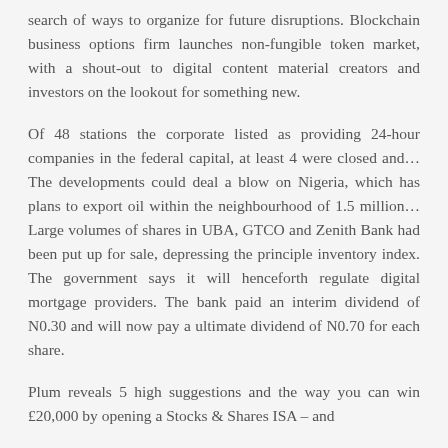search of ways to organize for future disruptions. Blockchain business options firm launches non-fungible token market, with a shout-out to digital content material creators and investors on the lookout for something new.
Of 48 stations the corporate listed as providing 24-hour companies in the federal capital, at least 4 were closed and… The developments could deal a blow on Nigeria, which has plans to export oil within the neighbourhood of 1.5 million… Large volumes of shares in UBA, GTCO and Zenith Bank had been put up for sale, depressing the principle inventory index. The government says it will henceforth regulate digital mortgage providers. The bank paid an interim dividend of N0.30 and will now pay a ultimate dividend of N0.70 for each share.
Plum reveals 5 high suggestions and the way you can win £20,000 by opening a Stocks & Shares ISA – and